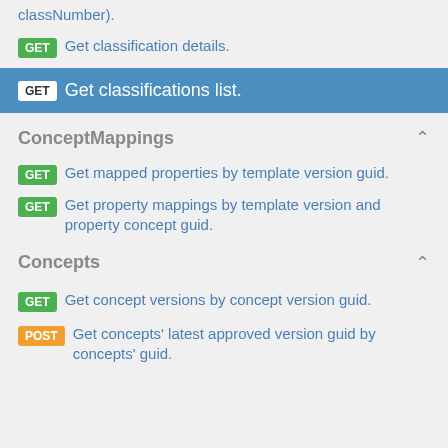classNumber).
GET  Get classification details.
GET  Get classifications list.
ConceptMappings
GET  Get mapped properties by template version guid.
GET  Get property mappings by template version and property concept guid.
Concepts
GET  Get concept versions by concept version guid.
POST  Get concepts' latest approved version guid by concepts' guid.